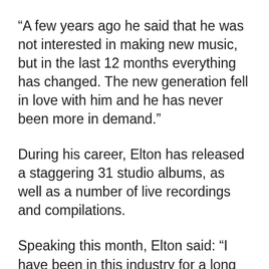“A few years ago he said that he was not interested in making new music, but in the last 12 months everything has changed. The new generation fell in love with him and he has never been more in demand.”
During his career, Elton has released a staggering 31 studio albums, as well as a number of live recordings and compilations.
Speaking this month, Elton said: “I have been in this industry for a long time, over 50 years. Even after all this time, you are still in awe when you hear your new music live for the first time. The fact that I have reached a whole new generation of listeners is very important to me.”